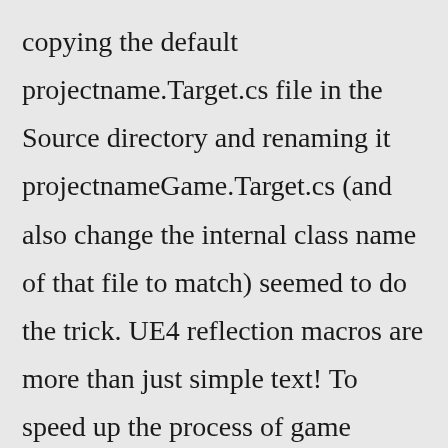copying the default projectname.Target.cs file in the Source directory and renaming it projectnameGame.Target.cs (and also change the internal class name of that file to match) seemed to do the trick. UE4 reflection macros are more than just simple text! To speed up the process of game development, Rider provides code completion for reflection. The BuildCookRun command should build the